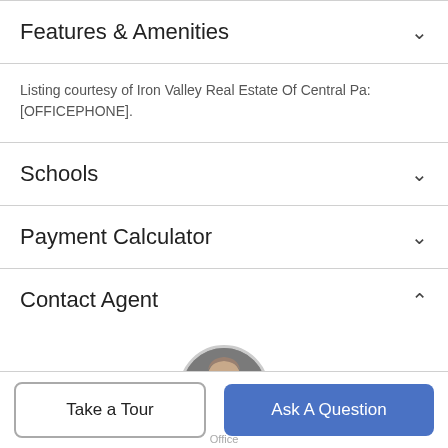Features & Amenities
Listing courtesy of Iron Valley Real Estate Of Central Pa: [OFFICEPHONE].
Schools
Payment Calculator
Contact Agent
[Figure (photo): Circular headshot of a middle-aged man in a suit jacket]
Office
Take a Tour
Ask A Question